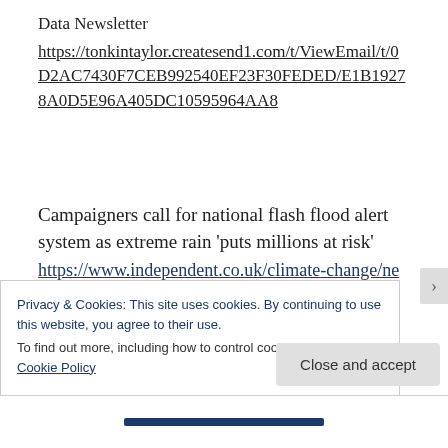Data Newsletter
https://tonkintaylor.createsend1.com/t/ViewEmail/t/0D2AC7430F7CEB992540EF23F30FEDED/E1B19278A0D5E96A405DC10595964AA8
Campaigners call for national flash flood alert system as extreme rain ‘puts millions at risk’ https://www.independent.co.uk/climate-change/news/flash-flooding-alert-system-climate-
Privacy & Cookies: This site uses cookies. By continuing to use this website, you agree to their use.
To find out more, including how to control cookies, see here: Cookie Policy
Close and accept